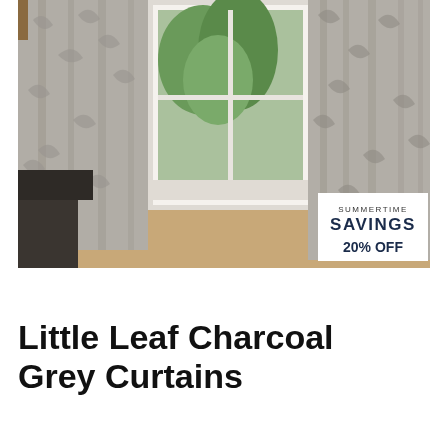[Figure (photo): Photo of grey patterned curtains with a leaf/paisley design hanging in a room beside a window, showing a garden view outside. A white savings badge in the bottom-right corner reads 'SUMMERTIME SAVINGS 20% OFF'.]
Little Leaf Charcoal Grey Curtains